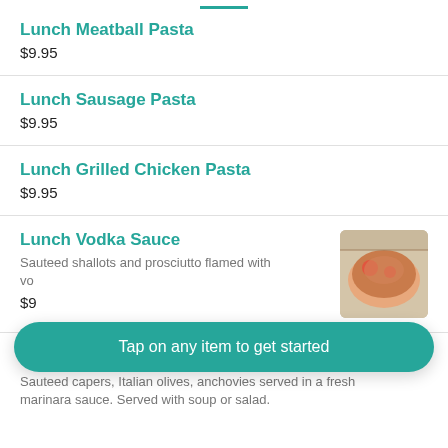Lunch Meatball Pasta
$9.95
Lunch Sausage Pasta
$9.95
Lunch Grilled Chicken Pasta
$9.95
Lunch Vodka Sauce
Sauteed shallots and prosciutto flamed with vo...
$9...
Tap on any item to get started
Lunch Puttanesca
Sauteed capers, Italian olives, anchovies served in a fresh marinara sauce. Served with soup or salad.